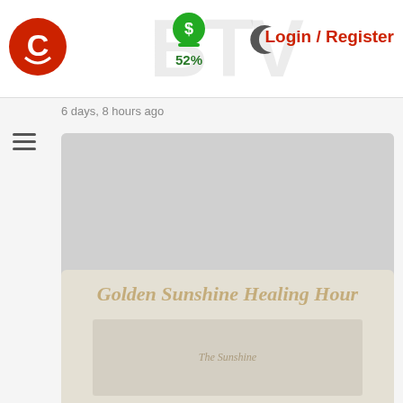Login / Register | 52%
6 days, 8 hours ago
[Figure (screenshot): Video thumbnail placeholder - light grey box]
35 views | 1:00:06
10 August 2022 ~ The Transformational Soul
3 days, 9 hours ago
[Figure (screenshot): Golden Sunshine Healing Hour video thumbnail with decorative text overlay]